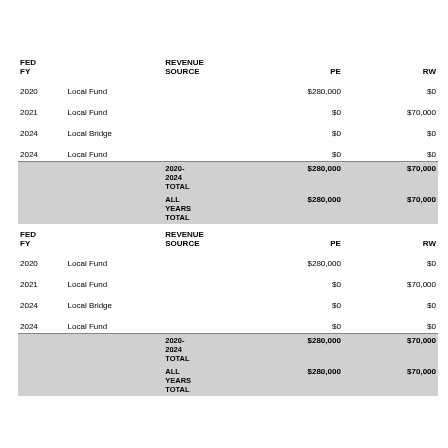| FED FY |  | REVENUE SOURCE | PE | RW |
| --- | --- | --- | --- | --- |
| 2020 | Local Fund |  | $280,000 | $0 |
| 2021 | Local Fund |  | $0 | $70,000 |
| 2024 | Local Bridge |  | $0 | $0 |
| 2024 | Local Fund |  | $0 | $0 |
|  |  | 2020-2024 TOTAL | $280,000 | $70,000 |
|  |  | ALL YEARS TOTAL | $280,000 | $70,000 |
| FED FY |  | REVENUE SOURCE | PE | RW |
| --- | --- | --- | --- | --- |
| 2020 | Local Fund |  | $280,000 | $0 |
| 2021 | Local Fund |  | $0 | $70,000 |
| 2024 | Local Bridge |  | $0 | $0 |
| 2024 | Local Fund |  | $0 | $0 |
|  |  | 2020-2024 TOTAL | $280,000 | $70,000 |
|  |  | ALL YEARS TOTAL | $280,000 | $70,000 |